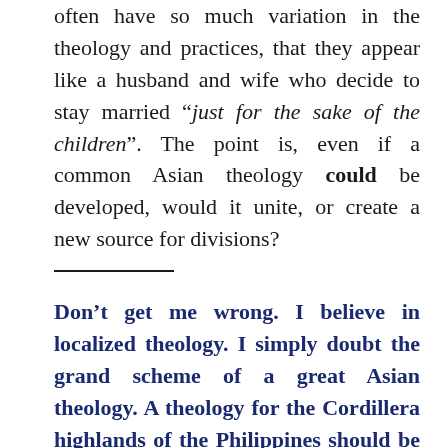often have so much variation in the theology and practices, that they appear like a husband and wife who decide to stay married “just for the sake of the children”. The point is, even if a common Asian theology could be developed, would it unite, or create a new source for divisions?
Don’t get me wrong. I believe in localized theology. I simply doubt the grand scheme of a great Asian theology. A theology for the Cordillera highlands of the Philippines should be greatly different from the theology of Muslim background believers of Aceh, Sumatra. To do otherwise is to reject the proper role